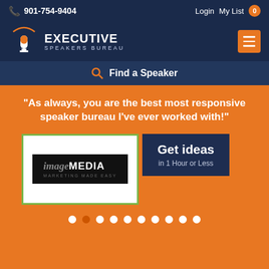901-754-9404   Login   My List 0
[Figure (logo): Executive Speakers Bureau logo with microphone icon and orange arc]
Find a Speaker
"As always, you are the best most responsive speaker bureau I've ever worked with!"
[Figure (logo): imageMEDIA Marketing Made Easy logo on black background inside white card with green border]
Get ideas in 1 Hour or Less